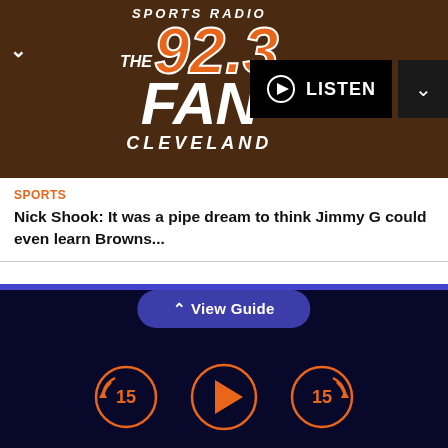[Figure (logo): Sports Radio 92.3 The Fan Cleveland logo on brown background with LISTEN button]
SPORTS
Nick Shook: It was a pipe dream to think Jimmy G could even learn Browns...
Just check out that game late Thursday night, when the Edmonton Oilers won the Battle of Alberta with a 5-4 overtime victory over the Calgary Flames.
[Figure (screenshot): Audio player controls: skip back 15, play, skip forward 15. View Guide button above.]